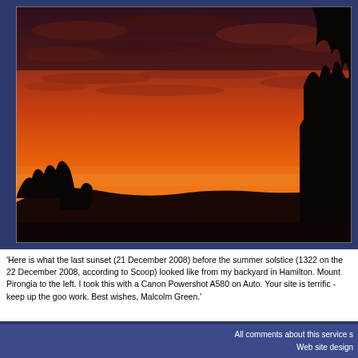[Figure (photo): A vivid sunset photograph taken from a backyard in Hamilton, New Zealand. The sky is deep orange-red with cloud texture. Silhouettes of trees and hills are visible at the bottom of the image.]
'Here is what the last sunset (21 December 2008) before the summer solstice (1322 on the 22 December 2008, according to Scoop) looked like from my backyard in Hamilton. Mount Pirongia to the left. I took this with a Canon Powershot A580 on Auto. Your site is terrific - keep up the good work. Best wishes, Malcolm Green.'
All comments about this service s...
Web site design...